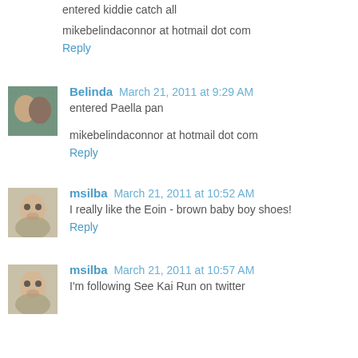entered kiddie catch all
mikebelindaconnor at hotmail dot com
Reply
Belinda March 21, 2011 at 9:29 AM
entered Paella pan
mikebelindaconnor at hotmail dot com
Reply
msilba March 21, 2011 at 10:52 AM
I really like the Eoin - brown baby boy shoes!
Reply
msilba March 21, 2011 at 10:57 AM
I'm following See Kai Run on twitter